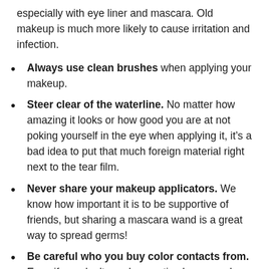especially with eye liner and mascara. Old makeup is much more likely to cause irritation and infection.
Always use clean brushes when applying your makeup.
Steer clear of the waterline. No matter how amazing it looks or how good you are at not poking yourself in the eye when applying it, it's a bad idea to put that much foreign material right next to the tear film.
Never share your makeup applicators. We know how important it is to be supportive of friends, but sharing a mascara wand is a great way to spread germs!
Be careful who you buy color contacts from. Even if you don't need corrective lenses, color contact lenses still need to fit the unique size and shape of your eyes, and this information must be